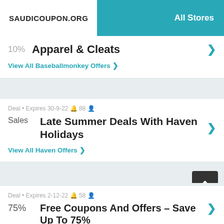SAUDICOUPON.ORG — All Stores
10% Apparel & Cleats — View All Baseballmonkey Offers
Deal • Expires 30-9-22 🔔 88 👤 — Sales — Late Summer Deals With Haven Holidays — View All Haven Offers
Deal • Expires 2-12-22 🔔 58 👤 — 75% — Free Coupons And Offers – Save Up To 75%